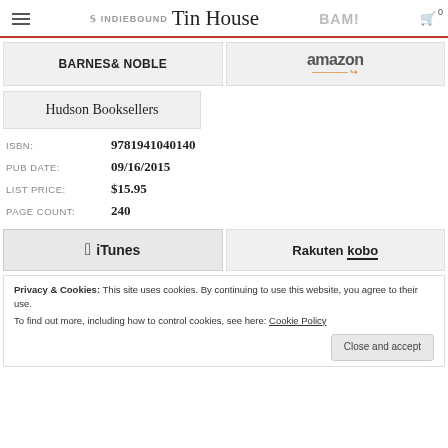≡ IndieBound Tin House BAM! Cart 0
[Figure (logo): Barnes & Noble retailer button]
[Figure (logo): Amazon retailer button]
[Figure (logo): Hudson Booksellers retailer button]
ISBN: 9781941040140
PUB DATE: 09/16/2015
LIST PRICE: $15.95
PAGE COUNT: 240
[Figure (logo): Apple iTunes ebook retailer button]
[Figure (logo): Rakuten Kobo ebook retailer button]
Privacy & Cookies: This site uses cookies. By continuing to use this website, you agree to their use.
To find out more, including how to control cookies, see here: Cookie Policy
Close and accept